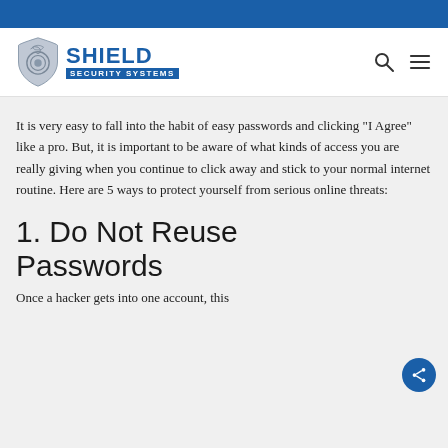[Figure (logo): Shield Security Systems logo with shield badge graphic and blue text]
It is very easy to fall into the habit of easy passwords and clicking "I Agree" like a pro. But, it is important to be aware of what kinds of access you are really giving when you continue to click away and stick to your normal internet routine. Here are 5 ways to protect yourself from serious online threats:
1. Do Not Reuse Passwords
Once a hacker gets into one account, this